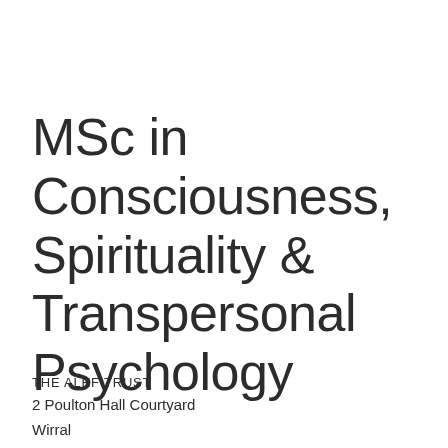MSc in Consciousness, Spirituality & Transpersonal Psychology
THE ALEF TRUST
2 Poulton Hall Courtyard
Wirral